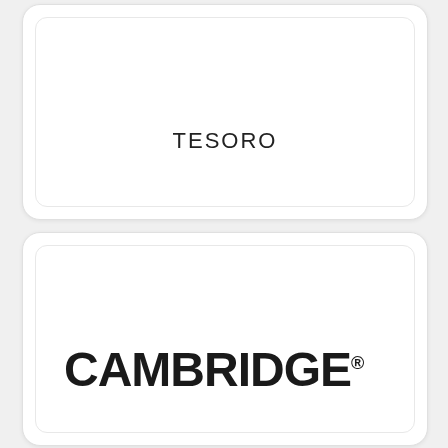[Figure (logo): White card with rounded corners containing the text TESORO centered near the bottom]
[Figure (logo): White card with rounded corners containing the bold text CAMBRIDGE with registered trademark symbol]